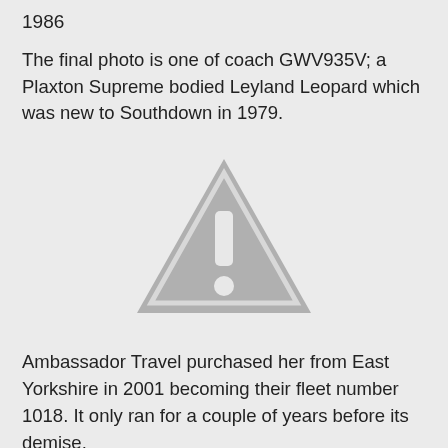1986
The final photo is one of coach GWV935V; a Plaxton Supreme bodied Leyland Leopard which was new to Southdown in 1979.
[Figure (other): Warning/placeholder triangle icon with exclamation mark, indicating a missing or unavailable image.]
Ambassador Travel purchased her from East Yorkshire in 2001 becoming their fleet number 1018. It only ran for a couple of years before its demise.
All the photos shown, therefore, all have a Great Yarmouth connection and Grahame hopes they are of interest to blog